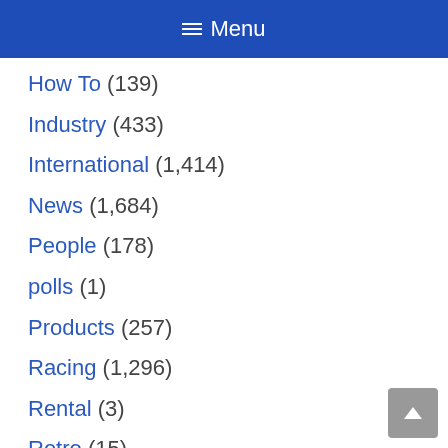Menu
How To (139)
Industry (433)
International (1,414)
News (1,684)
People (178)
polls (1)
Products (257)
Racing (1,296)
Rental (3)
Retro (15)
Speedway (13)
Sprint (569)